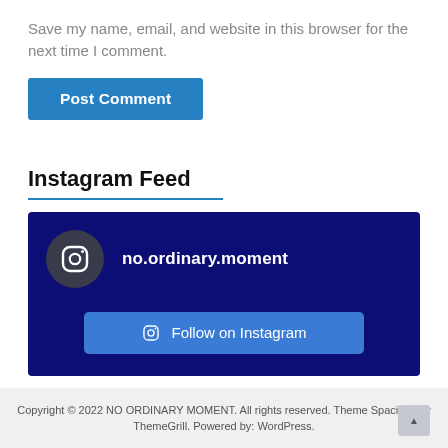Save my name, email, and website in this browser for the next time I comment.
Post Comment
Instagram Feed
[Figure (infographic): Instagram feed widget on dark navy background showing account name 'no.ordinary.moment' with Instagram icon and a 'Follow on Instagram' button]
Copyright © 2022 NO ORDINARY MOMENT. All rights reserved. Theme Spacious by ThemeGrill. Powered by: WordPress.